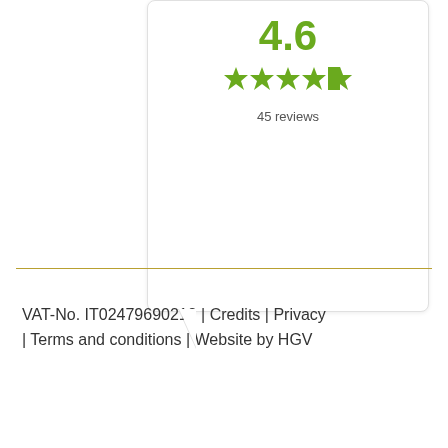[Figure (other): Rating card bubble showing 4.6 stars with 4 full stars and 1 half star, and 45 reviews text]
VAT-No. IT02479690212 | Credits | Privacy | Terms and conditions | Website by HGV